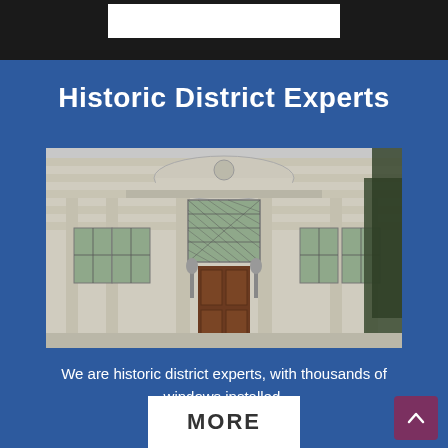[Figure (photo): Top strip with dark background and a white horizontal bar in the center]
Historic District Experts
[Figure (photo): Photograph of a historic neoclassical building facade with tall columns, ornate pediment, diamond-pane windows, and a large wooden door with two gas lamp fixtures flanking it and evergreen trees on the right]
We are historic district experts, with thousands of windows installed.
[Figure (other): White button/banner with the text MORE in bold dark letters]
[Figure (other): Purple/maroon scroll-to-top button with an upward-pointing chevron arrow]